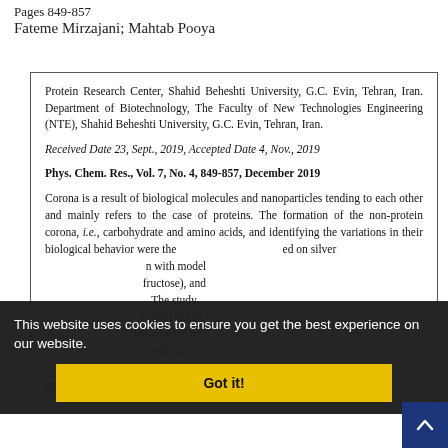Pages 849-857
Fateme Mirzajani; Mahtab Pooya
Protein Research Center, Shahid Beheshti University, G.C. Evin, Tehran, Iran. Department of Biotechnology, The Faculty of New Technologies Engineering (NTE), Shahid Beheshti University, G.C. Evin, Tehran, Iran.
Received Date 23, Sept., 2019, Accepted Date 4, Nov., 2019
Phys. Chem. Res., Vol. 7, No. 4, 849-857, December 2019
Corona is a result of biological molecules and nanoparticles tending to each other and mainly refers to the case of proteins. The formation of the non-protein corona, i.e., carbohydrate and amino acids, and identifying the variations in their biological behavior were the [objectives of this study. Efficacy was studied] on silver [nanoparticles (AgNPs) in interaction] with model [sugars (glucose, sucrose, and] fructose), and [amino acids (arginine, lysine, and serine).] The study [involved characterization of AgNPs] as well as the [binding characteristics of the compoun]ds affected by [AgNPs. Changes of AgNPs under biologi]cal reductio[n by sugars and AgNP-interactions with m]olecules we[re] monitored using response surface methodology (RSM). The resu[lts]